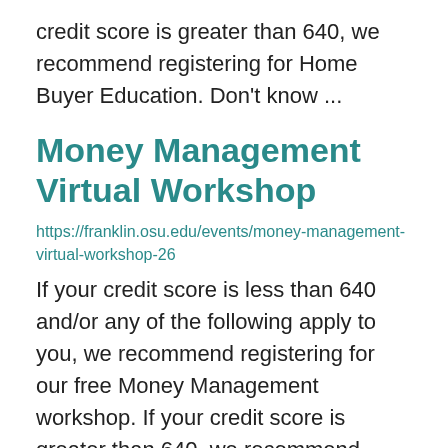credit score is greater than 640, we recommend registering for Home Buyer Education. Don't know ...
Money Management Virtual Workshop
https://franklin.osu.edu/events/money-management-virtual-workshop-26
If your credit score is less than 640 and/or any of the following apply to you, we recommend registering for our free Money Management workshop. If your credit score is greater than 640, we recommend registering for Home Buyer Education. Don't know